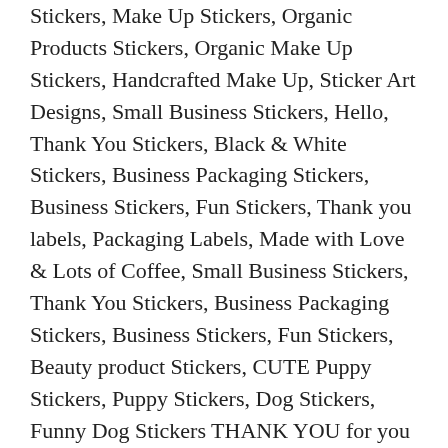Stickers, Make Up Stickers, Organic Products Stickers, Organic Make Up Stickers, Handcrafted Make Up, Sticker Art Designs, Small Business Stickers, Hello, Thank You Stickers, Black & White Stickers, Business Packaging Stickers, Business Stickers, Fun Stickers, Thank you labels, Packaging Labels, Made with Love & Lots of Coffee, Small Business Stickers, Thank You Stickers, Business Packaging Stickers, Business Stickers, Fun Stickers, Beauty product Stickers, CUTE Puppy Stickers, Puppy Stickers, Dog Stickers, Funny Dog Stickers THANK YOU for you purchase Stickers, Happy Mail Stickers, Order Stickers, Floral Stickers, Business Packaging Stickers, Cute Labels, Thanks HANDMADE WITH LOVE Stickers, Packaging Label, Crochet Stickers, Knitting Stickers, Yarn Love Stickers, Business Stickers, Thank You Stickers Thank You Stickers, Thank you for your order Stickers, Thank you for your support stickers, Business Stickers, Packaging Labels, Order Label Be Bold & Italic Heavy Border Stickers Be Unique Stickers Heavy Math